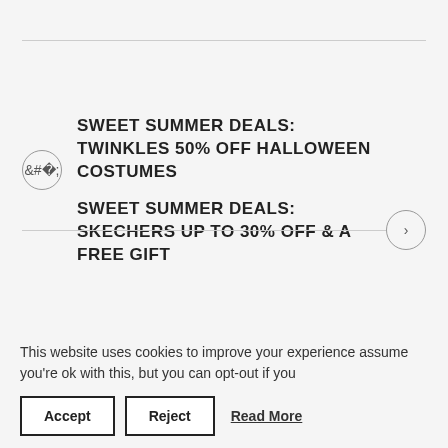SWEET SUMMER DEALS: TWINKLES 50% OFF HALLOWEEN COSTUMES
SWEET SUMMER DEALS: SKECHERS UP TO 30% OFF & A FREE GIFT
This website uses cookies to improve your experience assume you're ok with this, but you can opt-out if you
Accept
Reject
Read More